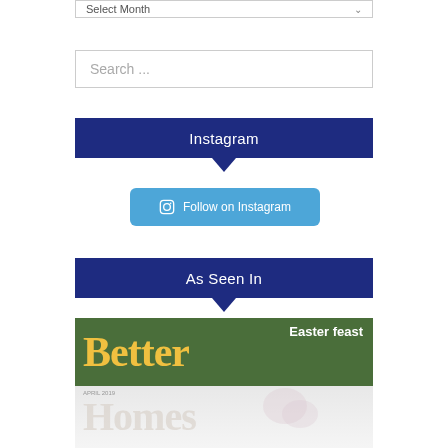Select Month
Search ...
Instagram
Follow on Instagram
As Seen In
[Figure (photo): Better Homes magazine cover showing 'Easter feast' text with flower, Better Homes title reflected below on light background]